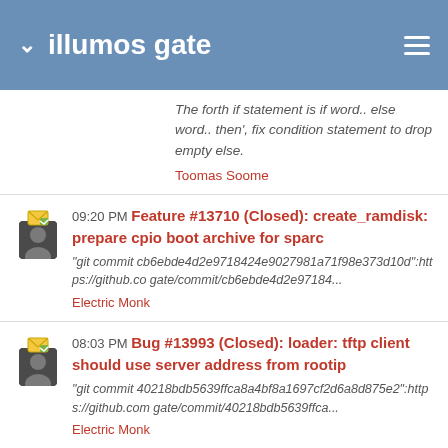illumos gate
The forth if statement is if word.. else word.. then', fix condition statement to drop empty else.
Toomas Soome
09:20 PM Feature #13710 (Closed): create_ramdisk: prepare cpio boot archive for sparc
"git commit cb6ebde4d2e9718424e9027981a71f98e373d10d":https://github.co gate/commit/cb6ebde4d2e97184...
Electric Monk
08:03 PM Bug #13993 (Closed): loader: tftp client should use server address from rootip
"git commit 40218bdb5639ffca8a4bf8a1697cf2d6a8d875e2":https://github.com gate/commit/40218bdb5639ffca...
Electric Monk
07:51 PM Bug #13991 (Closed): loader.efi: check return